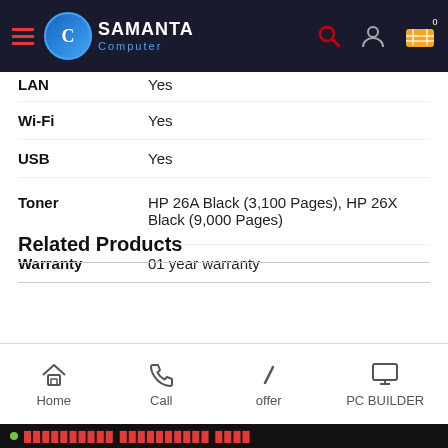Samanta Computer
| Specification | Value |
| --- | --- |
| LAN | Yes |
| Wi-Fi | Yes |
| USB | Yes |
| Toner | HP 26A Black (3,100 Pages), HP 26X Black (9,000 Pages) |
| Warranty | 01 year warranty |
Related Products
Home | Call | offer | PC BUILDER